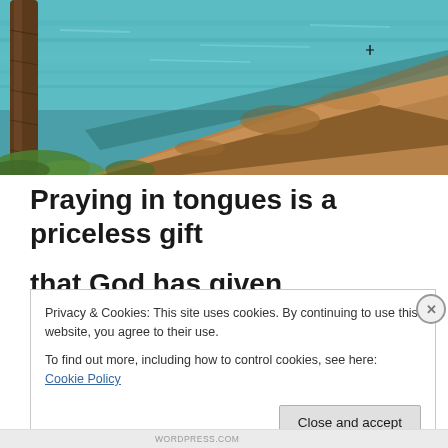[Figure (photo): Scenic coastal photo showing turquoise blue water, rocky cliff or shoreline ledge in sandy/brown tones with a tree trunk visible on the left and green vegetation, sunny outdoor setting]
Praying in tongues is a priceless gift that God has given
Privacy & Cookies: This site uses cookies. By continuing to use this website, you agree to their use.
To find out more, including how to control cookies, see here: Cookie Policy